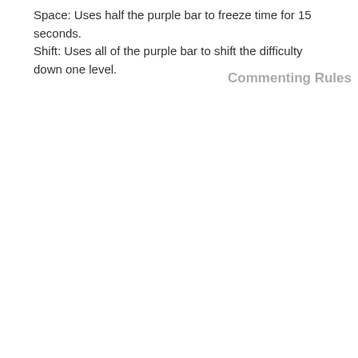Space: Uses half the purple bar to freeze time for 15 seconds.
Shift: Uses all of the purple bar to shift the difficulty down one level.
Commenting Rules